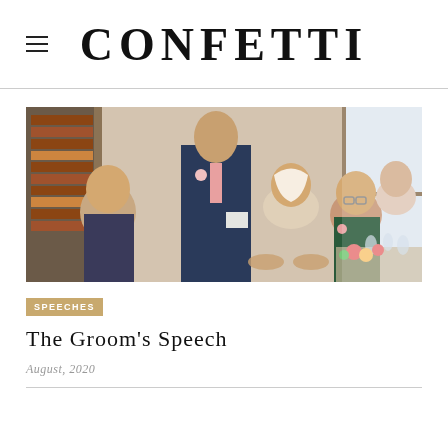CONFETTI
[Figure (photo): A groom standing and giving a speech at a wedding reception in an elegant room with bookshelves. He is wearing a navy suit with a pink tie and boutonniere. The bride and other guests are seated around a table, applauding.]
SPEECHES
The Groom's Speech
August, 2020